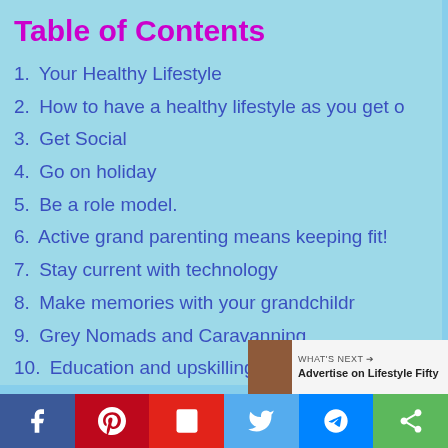Table of Contents
1. Your Healthy Lifestyle
2. How to have a healthy lifestyle as you get o
3. Get Social
4. Go on holiday
5. Be a role model.
6. Active grand parenting means keeping fit!
7. Stay current with technology
8. Make memories with your grandchildr
9. Grey Nomads and Caravanning
10. Education and upskilling